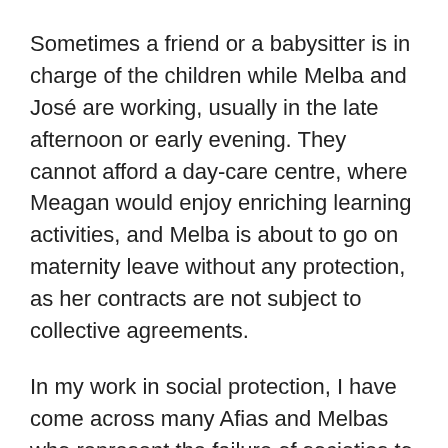Sometimes a friend or a babysitter is in charge of the children while Melba and José are working, usually in the late afternoon or early evening. They cannot afford a day-care centre, where Meagan would enjoy enriching learning activities, and Melba is about to go on maternity leave without any protection, as her contracts are not subject to collective agreements.
In my work in social protection, I have come across many Afias and Melbas who represent the failure of societies to provide maternity protection and good solutions to support the reconciliation of work and childcare responsibilities for both women and men.
And when this happens, negative outcomes ensue, both for economies and families. Parents –most often women –